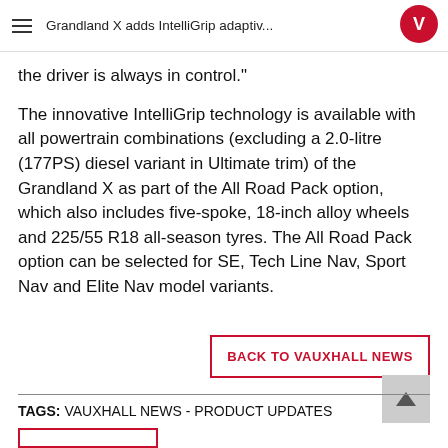Grandland X adds IntelliGrip adaptiv...
the driver is always in control."
The innovative IntelliGrip technology is available with all powertrain combinations (excluding a 2.0-litre (177PS) diesel variant in Ultimate trim) of the Grandland X as part of the All Road Pack option, which also includes five-spoke, 18-inch alloy wheels and 225/55 R18 all-season tyres. The All Road Pack option can be selected for SE, Tech Line Nav, Sport Nav and Elite Nav model variants.
BACK TO VAUXHALL NEWS
TAGS: VAUXHALL NEWS - PRODUCT UPDATES